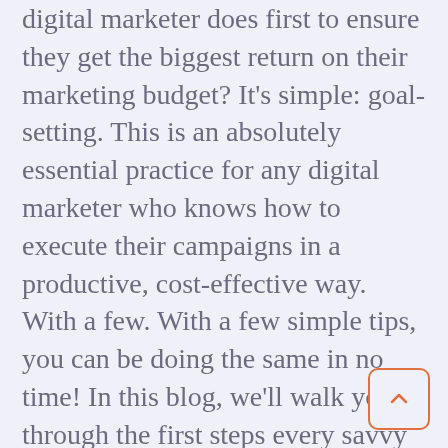digital marketer does first to ensure they get the biggest return on their marketing budget? It's simple: goal-setting. This is an absolutely essential practice for any digital marketer who knows how to execute their campaigns in a productive, cost-effective way. With a few. With a few simple tips, you can be doing the same in no time! In this blog, we'll walk you through the first steps every savvy digital marketer takes to ensure that they're on target to hit all their marketing objectives. Get ready for revenue!